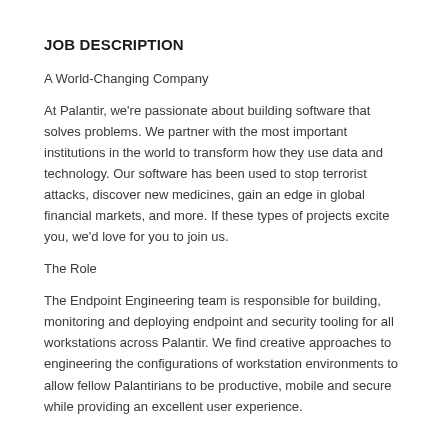JOB DESCRIPTION
A World-Changing Company
At Palantir, we're passionate about building software that solves problems. We partner with the most important institutions in the world to transform how they use data and technology. Our software has been used to stop terrorist attacks, discover new medicines, gain an edge in global financial markets, and more. If these types of projects excite you, we'd love for you to join us.
The Role
The Endpoint Engineering team is responsible for building, monitoring and deploying endpoint and security tooling for all workstations across Palantir. We find creative approaches to engineering the configurations of workstation environments to allow fellow Palantirians to be productive, mobile and secure while providing an excellent user experience.